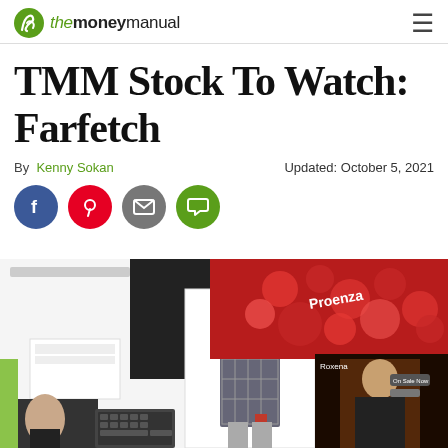The Money Manual — navigation header
TMM Stock To Watch: Farfetch
By Kenny Sokan   Updated: October 5, 2021
[Figure (infographic): Social sharing buttons row: Facebook (blue circle), Pinterest (red circle), Email (grey circle), Chat/SMS (green circle)]
[Figure (photo): Collage of Farfetch fashion e-commerce website screenshots showing luxury fashion items, models wearing designer clothes, and brand names including Christopher Kane and Proenza Schouler]